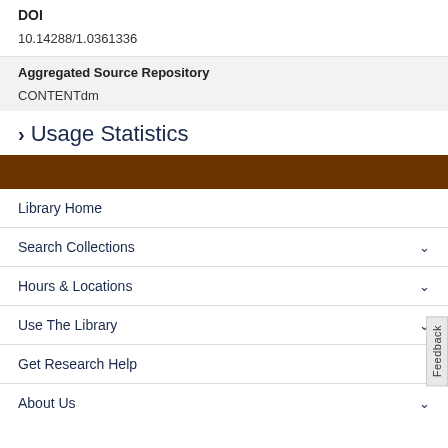DOI
10.14288/1.0361336
Aggregated Source Repository
CONTENTdm
> Usage Statistics
Library Home
Search Collections
Hours & Locations
Use The Library
Get Research Help
About Us